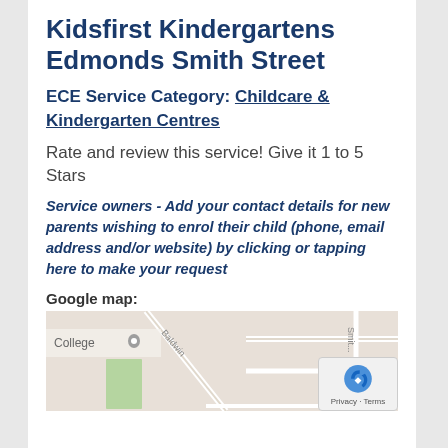Kidsfirst Kindergartens Edmonds Smith Street
ECE Service Category: Childcare & Kindergarten Centres
Rate and review this service! Give it 1 to 5 Stars
Service owners - Add your contact details for new parents wishing to enrol their child (phone, email address and/or website) by clicking or tapping here to make your request
Google map:
[Figure (map): Google map showing street view around Edmonds Smith Street area with College location marker, streets labeled including Baldwin and Smith Street]